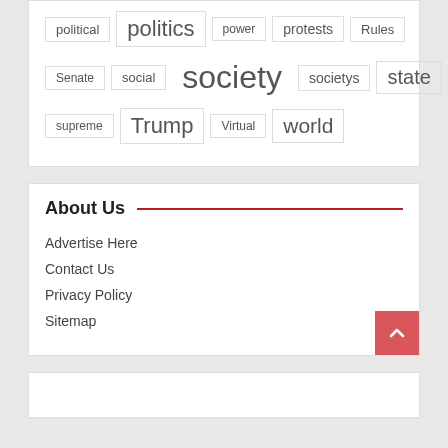[Figure (other): Tag cloud showing political/social terms in varying font sizes: political, politics, power, protests, Rules, Senate, social, society, societys, state, supreme, Trump, Virtual, world]
About Us
Advertise Here
Contact Us
Privacy Policy
Sitemap